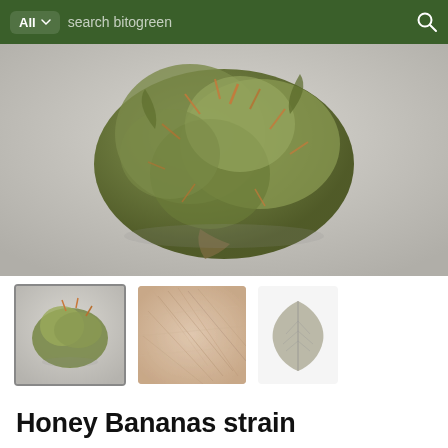All  search bitogreen
[Figure (photo): Large close-up photo of a green cannabis bud on a light grey/white background]
[Figure (photo): Three thumbnail images: first shows the cannabis bud (selected/highlighted), second shows a close-up fibrous texture in pink/beige tones, third shows a small grey leaf silhouette]
Honey Bananas strain